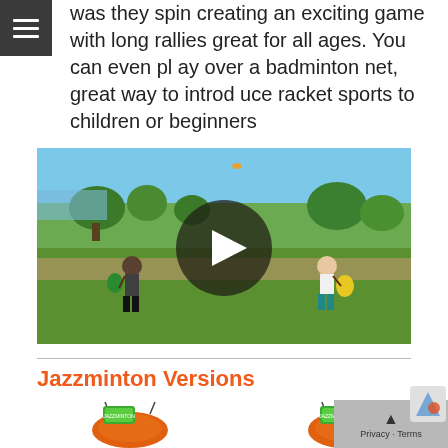was they spin creating an exciting game with long rallies great for all ages. You can even play over a badminton net, great way to introduce racket sports to children or beginners
[Figure (photo): Video thumbnail showing two people playing Jazzminton in a park with a play button overlay in the center]
Jazzminton Versions
[Figure (photo): Product photo of Jazzminton set in orange bag with green label tag]
[Figure (photo): Second product photo of Jazzminton set in orange bag with green label tag]